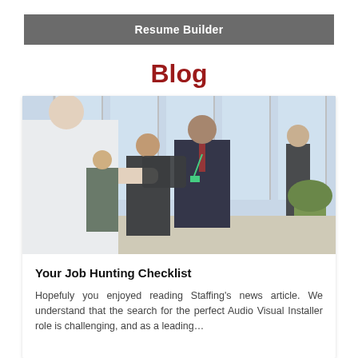Resume Builder
Blog
[Figure (photo): Professional networking scene in a modern office lobby; a man in a suit with a lanyard shakes hands or exchanges something with another person in white, while two others stand in the background smiling.]
Your Job Hunting Checklist
Hopefuly you enjoyed reading Staffing's news article. We understand that the search for the perfect Audio Visual Installer role is challenging, and as a leading…